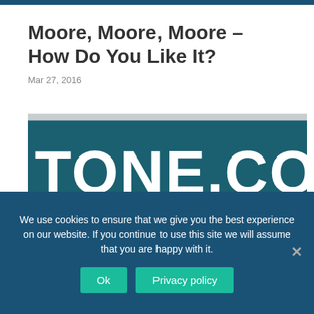Moore, Moore, Moore – How Do You Like It?
Mar 27, 2016
[Figure (photo): A billboard showing 'TONE.CO.UK' text on a large roadside sign with people visible on a walkway beneath it, against a grey sky.]
We use cookies to ensure that we give you the best experience on our website. If you continue to use this site we will assume that you are happy with it.